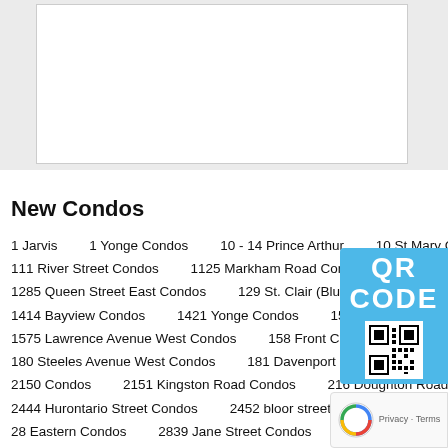[Figure (other): White box inset in a light gray background area, representing an image or map placeholder]
New Condos
1 Jarvis
1 Yonge Condos
10 - 14 Prince Arthur
10 St Mary Co...
111 River Street Condos
1125 Markham Road Condos
115 Glen...
1285 Queen Street East Condos
129 St. Clair (Blue Diamond at Imp...
1414 Bayview Condos
1421 Yonge Condos
150 Fairview Mall So...
1575 Lawrence Avenue West Condos
158 Front Condos
158 Fro...
180 Steeles Avenue West Condos
181 Davenport Condos
181 East Condos
2150 Condos
2151 Kingston Road Condos
216 Doughton Road Condos
2444 Hurontario Street Condos
2452 bloor street west condos
250 Lawrence...
28 Eastern Condos
2839 Jane Street Condos
299 Campbell Av...
32 Raglan Avenue Condos
3201 Highway 7 W Condos
321 Da...
3471 LAKE SHORE CONDOS IN ETOBICOKE
3471 Sheppard Av...
400 King West Condos
400 Wellington West
401 Dundas Stree...
456 Shaw Street and Mews
457 Richmond Street West
46 Park Street East